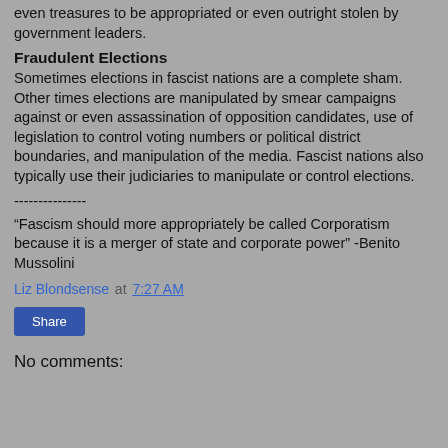even treasures to be appropriated or even outright stolen by government leaders.
Fraudulent Elections
Sometimes elections in fascist nations are a complete sham. Other times elections are manipulated by smear campaigns against or even assassination of opposition candidates, use of legislation to control voting numbers or political district boundaries, and manipulation of the media. Fascist nations also typically use their judiciaries to manipulate or control elections.
---------------
“Fascism should more appropriately be called Corporatism because it is a merger of state and corporate power” -Benito Mussolini
Liz Blondsense at 7:27 AM
Share
No comments: